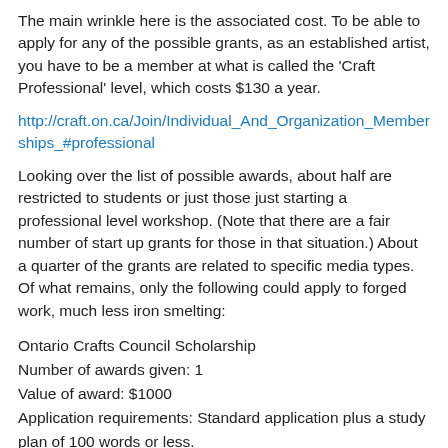The main wrinkle here is the associated cost. To be able to apply for any of the possible grants, as an established artist, you have to be a member at what is called the 'Craft Professional' level, which costs $130 a year.
http://craft.on.ca/Join/Individual_And_Organization_Memberships_#professional
Looking over the list of possible awards, about half are restricted to students or just those just starting a professional level workshop. (Note that there are a fair number of start up grants for those in that situation.) About a quarter of the grants are related to specific media types. Of what remains, only the following could apply to forged work, much less iron smelting:
Ontario Crafts Council Scholarship
Number of awards given: 1
Value of award: $1000
Application requirements: Standard application plus a study plan of 100 words or less.
Description: The Ontario Crafts Council Scholarship...